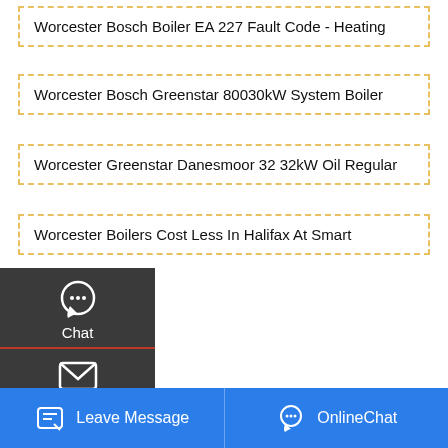Worcester Bosch Boiler EA 227 Fault Code - Heating
Worcester Bosch Greenstar 80030kW System Boiler
Worcester Greenstar Danesmoor 32 32kW Oil Regular
Worcester Boilers Cost Less In Halifax At Smart
[Figure (screenshot): Side panel overlay with Chat, Email, and Contact icons on dark background]
DO YOU HAVE QUESTIONS? WE ARE HERE TO HELP YOU!
Chat
[Figure (screenshot): WhatsApp sticker save popup with gradient background showing phone and emoji icons]
Leave Message
OnlineChat